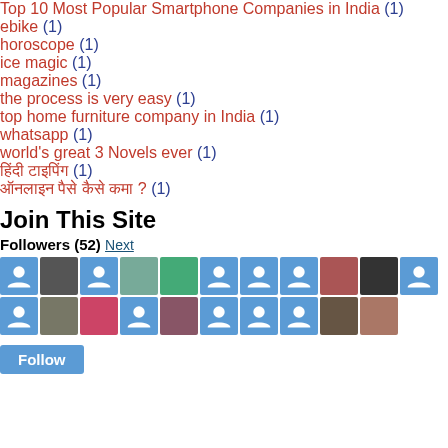Top 10 Most Popular Smartphone Companies in India (1)
ebike (1)
horoscope (1)
ice magic (1)
magazines (1)
the process is very easy (1)
top home furniture company in India (1)
whatsapp (1)
world's great 3 Novels ever (1)
हिंदी टाइपिंग (1)
ऑनलाइन पैसे कैसे कमा ? (1)
Join This Site
Followers (52) Next
[Figure (other): Grid of follower avatars — profile photos and blue placeholder icons]